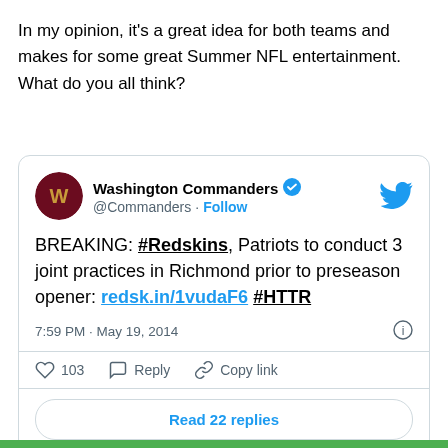In my opinion, it's a great idea for both teams and makes for some great Summer NFL entertainment. What do you all think?
[Figure (screenshot): Embedded tweet from Washington Commanders (@Commanders) with verified badge and Twitter bird logo. Tweet text: 'BREAKING: #Redskins, Patriots to conduct 3 joint practices in Richmond prior to preseason opener: redsk.in/1vudaF6 #HTTR'. Posted at 7:59 PM · May 19, 2014. Shows 103 likes, Reply, Copy link actions, and Read 22 replies button.]